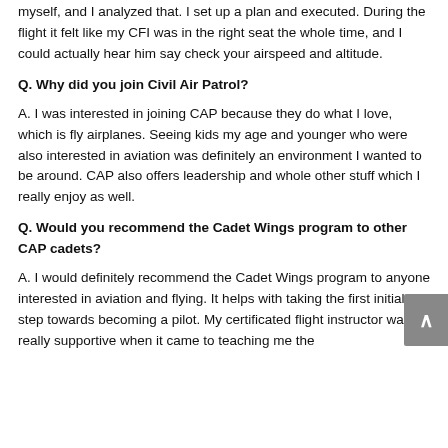myself, and I analyzed that. I set up a plan and executed. During the flight it felt like my CFI was in the right seat the whole time, and I could actually hear him say check your airspeed and altitude.
Q. Why did you join Civil Air Patrol?
A. I was interested in joining CAP because they do what I love, which is fly airplanes. Seeing kids my age and younger who were also interested in aviation was definitely an environment I wanted to be around. CAP also offers leadership and whole other stuff which I really enjoy as well.
Q. Would you recommend the Cadet Wings program to other CAP cadets?
A. I would definitely recommend the Cadet Wings program to anyone interested in aviation and flying. It helps with taking the first initial step towards becoming a pilot. My certificated flight instructor was really supportive when it came to teaching me the